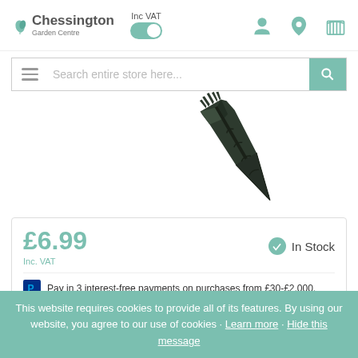[Figure (logo): Chessington Garden Centre logo with leaf graphic]
Inc VAT toggle switch (on)
[Figure (screenshot): Search bar with hamburger menu and search icon]
[Figure (photo): Garden trowel/spade head, dark metal, photographed on white background]
£6.99
Inc. VAT
In Stock
Pay in 3 interest-free payments on purchases from £30-£2,000.
This website requires cookies to provide all of its features. By using our website, you agree to our use of cookies · Learn more · Hide this message